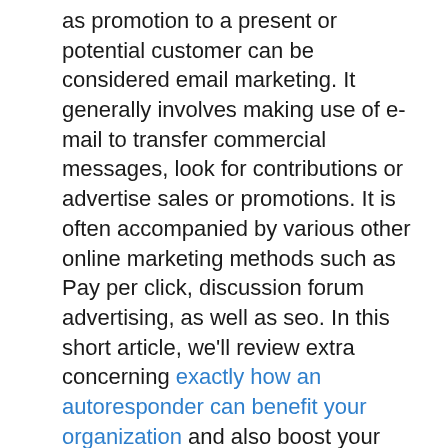as promotion to a present or potential customer can be considered email marketing. It generally involves making use of e-mail to transfer commercial messages, look for contributions or advertise sales or promotions. It is often accompanied by various other online marketing methods such as Pay per click, discussion forum advertising, as well as seo. In this short article, we'll review extra concerning exactly how an autoresponder can benefit your organization and also boost your email advertising and marketing success.
As e-mail advertising and marketing involves duplicated contacts to different clients, you intend to ensure it that to gain automated email